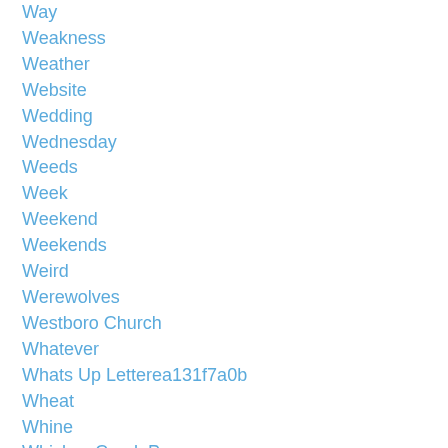Way
Weakness
Weather
Website
Wedding
Wednesday
Weeds
Week
Weekend
Weekends
Weird
Werewolves
Westboro Church
Whatever
Whats Up Letterea131f7a0b
Wheat
Whine
Whiskey Creek Press
Wicked
Will
Win